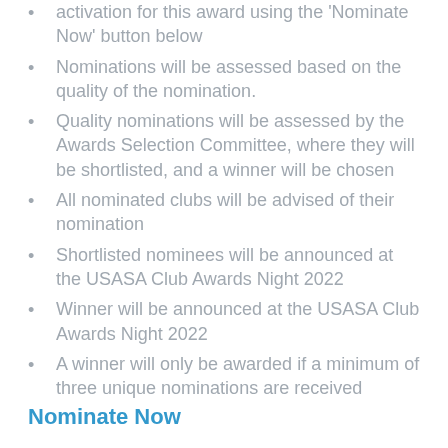activation for this award using the 'Nominate Now' button below
Nominations will be assessed based on the quality of the nomination.
Quality nominations will be assessed by the Awards Selection Committee, where they will be shortlisted, and a winner will be chosen
All nominated clubs will be advised of their nomination
Shortlisted nominees will be announced at the USASA Club Awards Night 2022
Winner will be announced at the USASA Club Awards Night 2022
A winner will only be awarded if a minimum of three unique nominations are received
Nominate Now